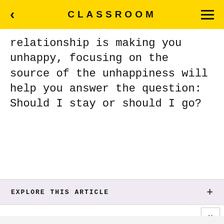CLASSROOM
relationship is making you unhappy, focusing on the source of the unhappiness will help you answer the question: Should I stay or should I go?
EXPLORE THIS ARTICLE